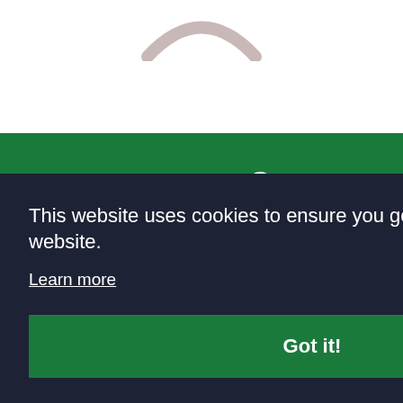[Figure (logo): Partial circular logo visible at top on white background]
[Figure (logo): White curved arrow with 'the Green' text on dark green background — partial Green logo]
This website uses cookies to ensure you get the best experience on our website.
Learn more
Got it!
nal in